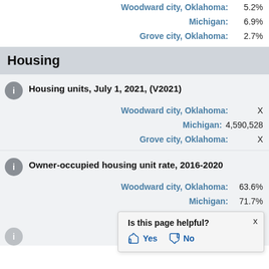Woodward city, Oklahoma: 5.2%
Michigan: 6.9%
Grove city, Oklahoma: 2.7%
Housing
Housing units, July 1, 2021, (V2021)
Woodward city, Oklahoma: X
Michigan: 4,590,528
Grove city, Oklahoma: X
Owner-occupied housing unit rate, 2016-2020
Woodward city, Oklahoma: 63.6%
Michigan: 71.7%
Grove city, Oklahoma: (partially visible)
Is this page helpful? Yes No